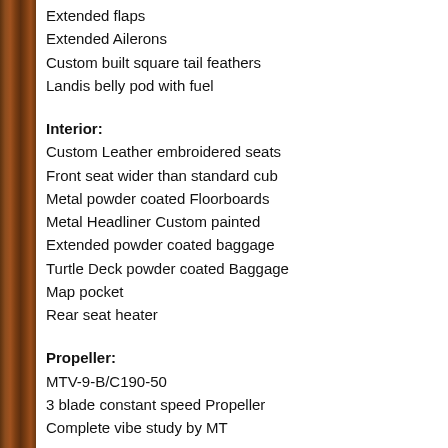Extended flaps
Extended Ailerons
Custom built square tail feathers
Landis belly pod with fuel
Interior:
Custom Leather embroidered seats
Front seat wider than standard cub
Metal powder coated Floorboards
Metal Headliner Custom painted
Extended powder coated baggage
Turtle Deck powder coated Baggage
Map pocket
Rear seat heater
Propeller:
MTV-9-B/C190-50
3 blade constant speed Propeller
Complete vibe study by MT
Avionics:
Titanium Instrument panel